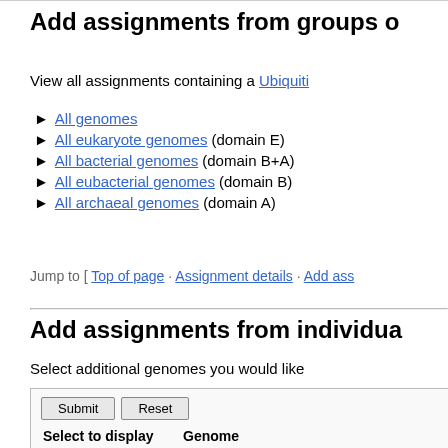Add assignments from groups o…
View all assignments containing a Ubiquiti…
All genomes
All eukaryote genomes (domain E)
All bacterial genomes (domain B+A)
All eubacterial genomes (domain B)
All archaeal genomes (domain A)
Jump to [ Top of page · Assignment details · Add ass…
Add assignments from individua…
Select additional genomes you would like…
| Select to display | Genome |
| --- | --- |
| No / Yes | ALL |
| No / Yes | Homo sapiens 76_38 |
| No / Yes | Pan troglodytes 76_2.1.4 |